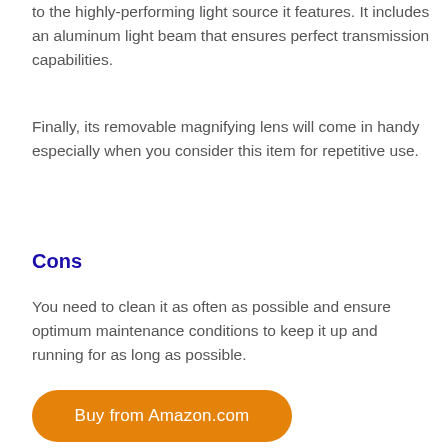to the highly-performing light source it features. It includes an aluminum light beam that ensures perfect transmission capabilities.
Finally, its removable magnifying lens will come in handy especially when you consider this item for repetitive use.
Cons
You need to clean it as often as possible and ensure optimum maintenance conditions to keep it up and running for as long as possible.
[Figure (other): Orange 'Buy from Amazon.com' button]